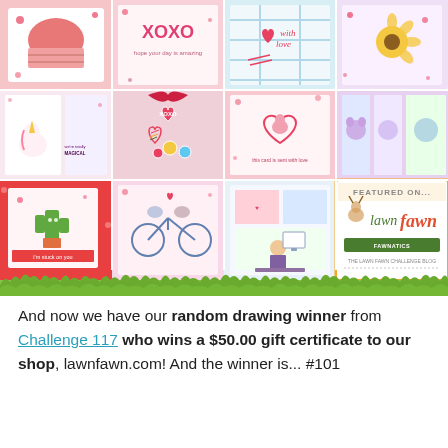[Figure (photo): A collage of 12 Valentine's Day craft cards and projects arranged in a 4x3 grid, with a decorative green grass strip at the bottom. The images show handmade cards with hearts, unicorns, cacti, animals, and Valentine's themed decorations. The bottom-right cell features a 'Featured On... Lawn Fawn Fawnatics' badge with an orange border.]
And now we have our random drawing winner from Challenge 117 who wins a $50.00 gift certificate to our shop, lawnfawn.com! And the winner is... #101